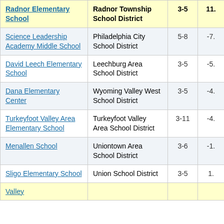| School | District | Grades |  |
| --- | --- | --- | --- |
| Radnor Elementary School | Radnor Township School District | 3-5 | 11. |
| Science Leadership Academy Middle School | Philadelphia City School District | 5-8 | -7. |
| David Leech Elementary School | Leechburg Area School District | 3-5 | -5. |
| Dana Elementary Center | Wyoming Valley West School District | 3-5 | -4. |
| Turkeyfoot Valley Area Elementary School | Turkeyfoot Valley Area School District | 3-11 | -4. |
| Menallen School | Uniontown Area School District | 3-6 | -1. |
| Sligo Elementary School | Union School District | 3-5 | 1. |
| Valley |  |  |  |